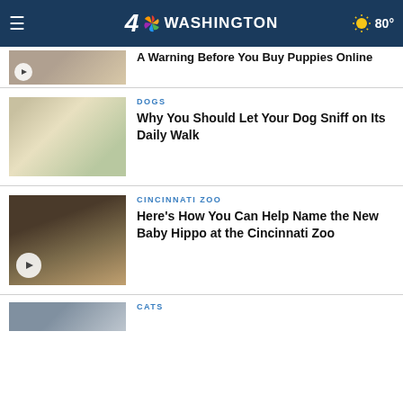4 NBC WASHINGTON  80°
[Figure (screenshot): Partial view of puppy article thumbnail with play button]
A Warning Before You Buy Puppies Online
[Figure (photo): White dog (golden retriever) sniffing a table, person in yellow vest behind]
DOGS
Why You Should Let Your Dog Sniff on Its Daily Walk
[Figure (photo): Baby hippo and mother hippo at Cincinnati Zoo, video thumbnail with play button]
CINCINNATI ZOO
Here's How You Can Help Name the New Baby Hippo at the Cincinnati Zoo
[Figure (photo): Partial cats article thumbnail at bottom]
CATS